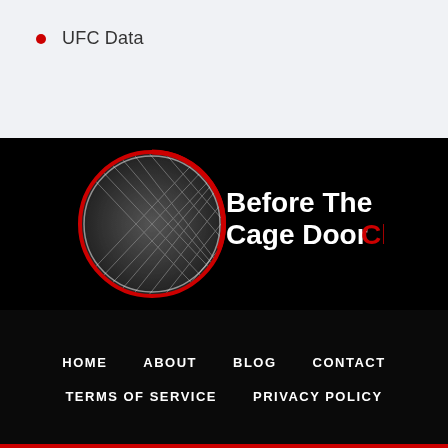UFC Data
[Figure (logo): Before The Cage Door Closes logo — circular MMA cage fence background with white and red text on black background]
HOME
ABOUT
BLOG
CONTACT
TERMS OF SERVICE
PRIVACY POLICY